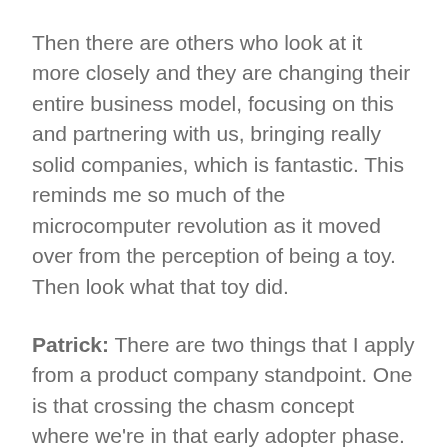Then there are others who look at it more closely and they are changing their entire business model, focusing on this and partnering with us, bringing really solid companies, which is fantastic. This reminds me so much of the microcomputer revolution as it moved over from the perception of being a toy. Then look what that toy did.
Patrick: There are two things that I apply from a product company standpoint. One is that crossing the chasm concept where we're in that early adopter phase. As that gets momentum and people get comfortable, broker dealers get comfortable, the ecosystem gets comfortable, this thing can skyrocket.
The other thing is the innovator's dilemma. This is a much lower cost way of doing something that previously didn't exist. In the beginning, everyone was skeptical. They think